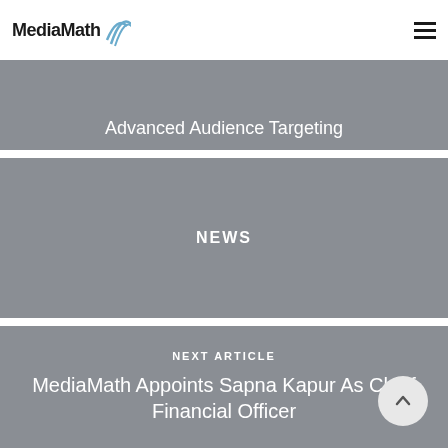MediaMath
Advanced Audience Targeting
NEWS
NEXT ARTICLE
MediaMath Appoints Sapna Kapur As Chief Financial Officer